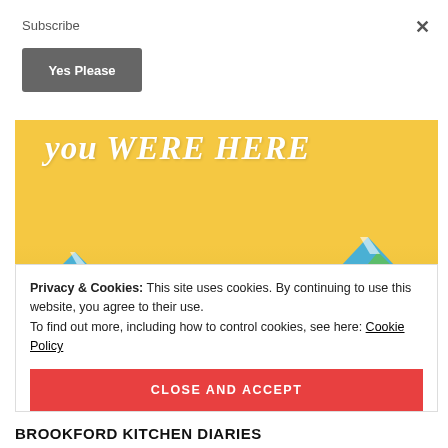Subscribe
×
Yes Please
[Figure (illustration): Book cover image showing 'wish you were here' text in white italic script on a warm yellow/golden background with illustrated blue and green mountains at the bottom]
Privacy & Cookies: This site uses cookies. By continuing to use this website, you agree to their use.
To find out more, including how to control cookies, see here: Cookie Policy
CLOSE AND ACCEPT
BROOKFORD KITCHEN DIARIES